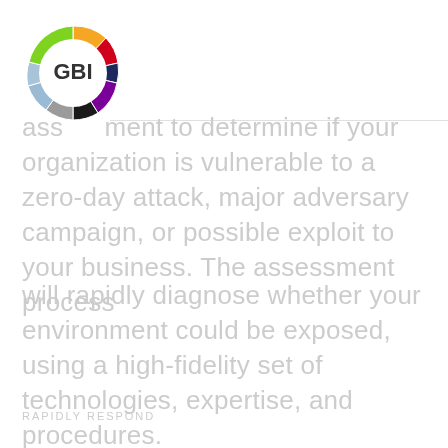[Figure (logo): GBI circular logo with multicolor ring segments (orange, red, dark blue, purple, black, gray, light blue, green) and bold GBI text in center]
assessment to determine if your organization is vulnerable to a zero-day attack, major adversary campaign, or possible exploit to your business. The assessment process
will rapidly diagnose whether your environment could be exposed, using a high-fidelity set of technologies, expertise, and procedures.
RAPIDLY RESPOND